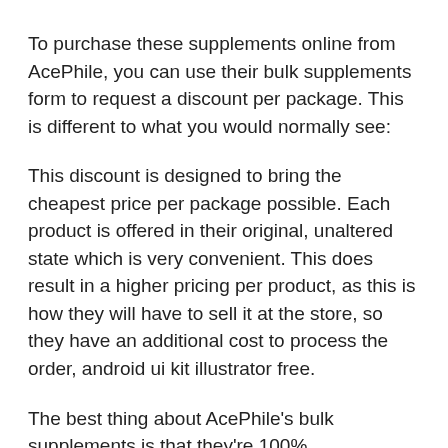To purchase these supplements online from AcePhile, you can use their bulk supplements form to request a discount per package. This is different to what you would normally see:
This discount is designed to bring the cheapest price per package possible. Each product is offered in their original, unaltered state which is very convenient. This does result in a higher pricing per product, as this is how they will have to sell it at the store, so they have an additional cost to process the order, android ui kit illustrator free.
The best thing about AcePhile's bulk supplements is that they're 100% manufactured right here in the US, android ui kit.
Acephile offers a large selection of bulk